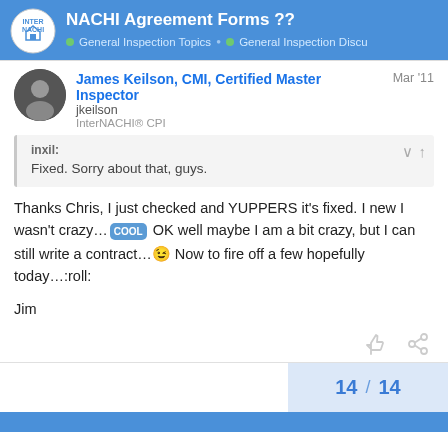NACHI Agreement Forms ?? — General Inspection Topics · General Inspection Discu
James Keilson, CMI, Certified Master Inspector
jkeilson
InterNACHI® CPI
Mar '11
inxil:
Fixed. Sorry about that, guys.
Thanks Chris, I just checked and YUPPERS it's fixed. I new I wasn't crazy…😎 OK well maybe I am a bit crazy, but I can still write a contract…😉 Now to fire off a few hopefully today...:roll:

Jim
14 / 14